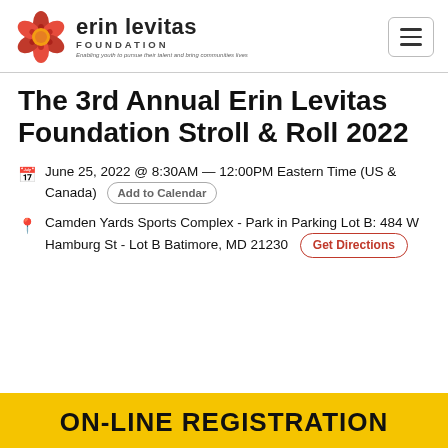erin levitas FOUNDATION — Enabling youth to pursue their talent and bring communities lives
The 3rd Annual Erin Levitas Foundation Stroll & Roll 2022
June 25, 2022 @ 8:30AM — 12:00PM Eastern Time (US & Canada)  Add to Calendar
Camden Yards Sports Complex - Park in Parking Lot B: 484 W Hamburg St - Lot B Batimore, MD 21230  Get Directions
ON-LINE REGISTRATION